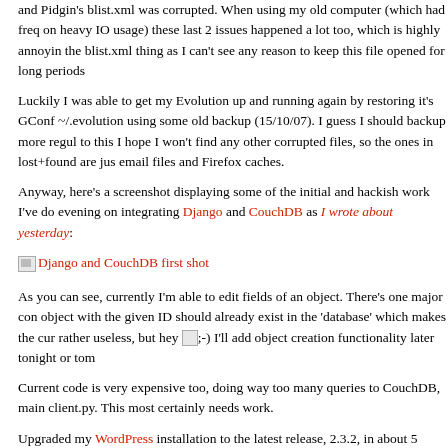and Pidgin's blist.xml was corrupted. When using my old computer (which had freq on heavy IO usage) these last 2 issues happened a lot too, which is highly annoyin the blist.xml thing as I can't see any reason to keep this file opened for long periods
Luckily I was able to get my Evolution up and running again by restoring it's GConf ~/.evolution using some old backup (15/10/07). I guess I should backup more regul to this I hope I won't find any other corrupted files, so the ones in lost+found are jus email files and Firefox caches.
Anyway, here's a screenshot displaying some of the initial and hackish work I've do evening on integrating Django and CouchDB as I wrote about yesterday:
[Figure (screenshot): Django and CouchDB first shot - linked image placeholder]
As you can see, currently I'm able to edit fields of an object. There's one major con object with the given ID should already exist in the 'database' which makes the cur rather useless, but hey ;-) I'll add object creation functionality later tonight or tom
Current code is very expensive too, doing way too many queries to CouchDB, main client.py. This most certainly needs work.
Upgraded my WordPress installation to the latest release, 2.3.2, in about 5 second svn switch (although maybe I should start using git-svn for this installation too and release branch in my local copy).